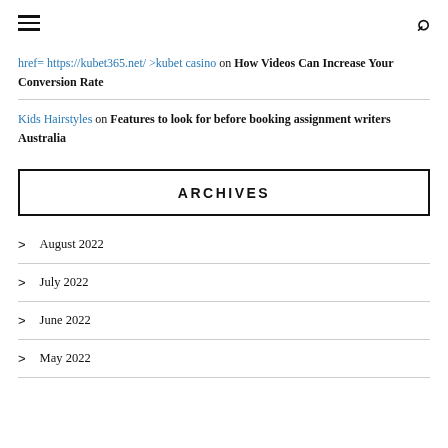☰  🔍
href= https://kubet365.net/ >kubet casino on How Videos Can Increase Your Conversion Rate
Kids Hairstyles on Features to look for before booking assignment writers Australia
ARCHIVES
August 2022
July 2022
June 2022
May 2022